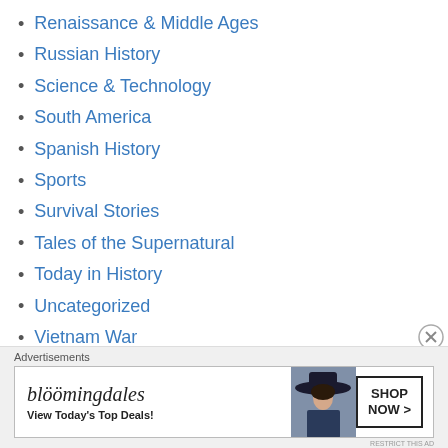Renaissance & Middle Ages
Russian History
Science & Technology
South America
Spanish History
Sports
Survival Stories
Tales of the Supernatural
Today in History
Uncategorized
Vietnam War
War of 1812
War on Terror
[Figure (screenshot): Bloomingdale's advertisement banner: 'View Today's Top Deals!' with SHOP NOW button and woman wearing a hat]